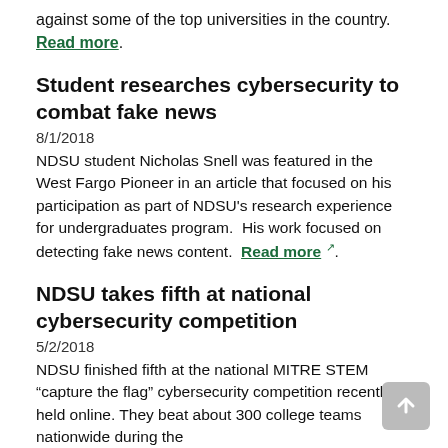against some of the top universities in the country. Read more.
Student researches cybersecurity to combat fake news
8/1/2018
NDSU student Nicholas Snell was featured in the West Fargo Pioneer in an article that focused on his participation as part of NDSU's research experience for undergraduates program.  His work focused on detecting fake news content.  Read more.
NDSU takes fifth at national cybersecurity competition
5/2/2018
NDSU finished fifth at the national MITRE STEM “capture the flag” cybersecurity competition recently held online. They beat about 300 college teams nationwide during the